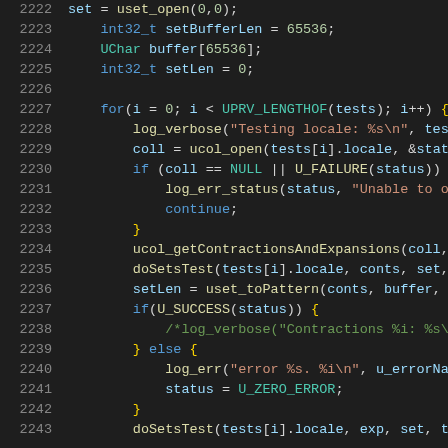[Figure (screenshot): Source code listing showing C/C++ code for locale testing with line numbers 2222-2243, syntax highlighted on dark background]